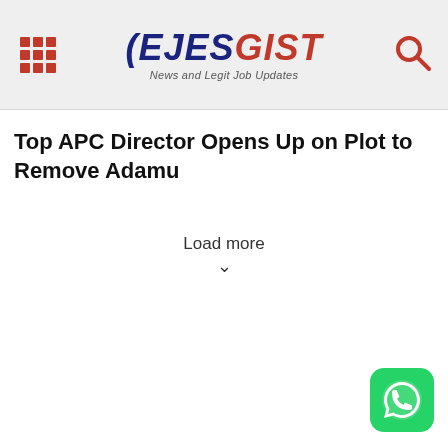EJESGIST — News and Legit Job Updates
Top APC Director Opens Up on Plot to Remove Adamu
Load more
[Figure (logo): WhatsApp button icon, green rounded square with white phone handset]